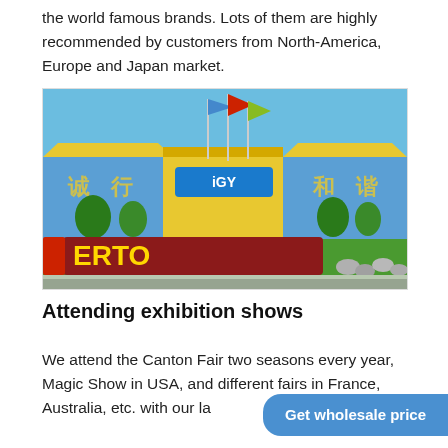the world famous brands. Lots of them are highly recommended by customers from North-America, Europe and Japan market.
[Figure (photo): Outdoor exhibition venue or trade fair entrance with colorful flags on poles, yellow and blue buildings, and flower displays spelling letters including 'ERTO' in red and yellow flowers, green grass, blue sky]
Attending exhibition shows
We attend the Canton Fair two seasons every year, Magic Show in USA, and different fairs in France, Australia, etc. with our la
Get wholesale price